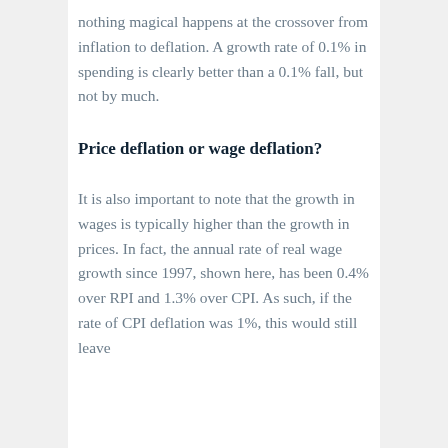nothing magical happens at the crossover from inflation to deflation. A growth rate of 0.1% in spending is clearly better than a 0.1% fall, but not by much.
Price deflation or wage deflation?
It is also important to note that the growth in wages is typically higher than the growth in prices. In fact, the annual rate of real wage growth since 1997, shown here, has been 0.4% over RPI and 1.3% over CPI. As such, if the rate of CPI deflation was 1%, this would still leave